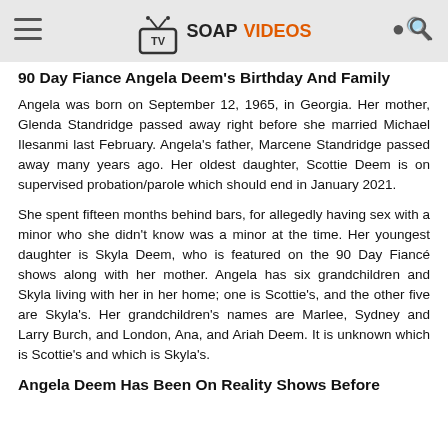TV SOAP VIDEOS
90 Day Fiance Angela Deem's Birthday And Family
Angela was born on September 12, 1965, in Georgia. Her mother, Glenda Standridge passed away right before she married Michael Ilesanmi last February. Angela's father, Marcene Standridge passed away many years ago. Her oldest daughter, Scottie Deem is on supervised probation/parole which should end in January 2021.
She spent fifteen months behind bars, for allegedly having sex with a minor who she didn't know was a minor at the time. Her youngest daughter is Skyla Deem, who is featured on the 90 Day Fiancé shows along with her mother. Angela has six grandchildren and Skyla living with her in her home; one is Scottie's, and the other five are Skyla's. Her grandchildren's names are Marlee, Sydney and Larry Burch, and London, Ana, and Ariah Deem. It is unknown which is Scottie's and which is Skyla's.
Angela Deem Has Been On Reality Shows Before